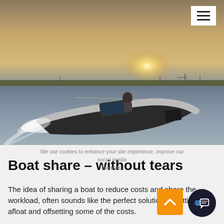[Figure (photo): A person riding a rigid inflatable boat (RIB) at speed across a body of water, creating a large wake. Sailboats and a shoreline visible in the background at sunset/dusk.]
We use cookies to enhance your site experience, improve our social media features.
Boat share – without tears
The idea of sharing a boat to reduce costs and share the workload, often sounds like the perfect solution to getting afloat and offsetting some of the costs.